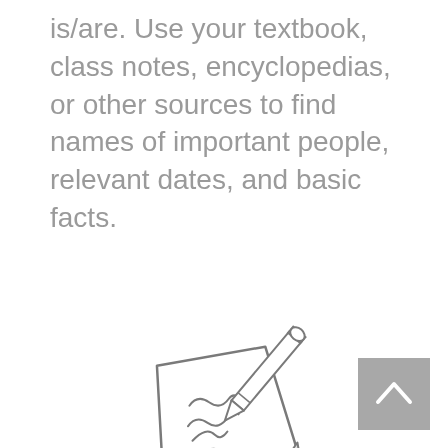is/are. Use your textbook, class notes, encyclopedias, or other sources to find names of important people, relevant dates, and basic facts.
[Figure (illustration): Line drawing of a notepad with a pencil writing on it, showing cursive handwriting on the paper.]
[Figure (other): Gray navigation button with an upward-pointing chevron arrow.]